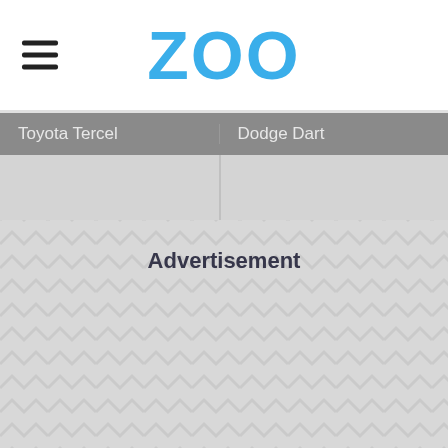ZOO
Toyota Tercel
Dodge Dart
[Figure (other): Two car image placeholders side by side (Toyota Tercel and Dodge Dart)]
Advertisement
[Figure (other): Advertisement placeholder with herringbone/chevron pattern background]